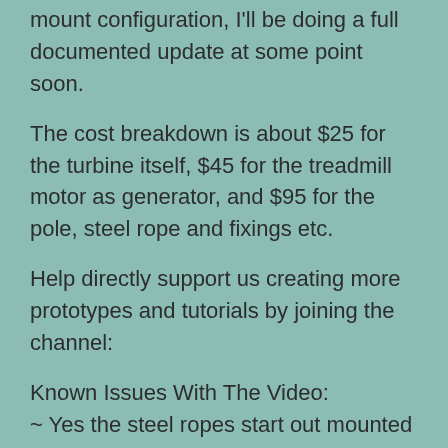mount configuration, I'll be doing a full documented update at some point soon.
The cost breakdown is about $25 for the turbine itself, $45 for the treadmill motor as generator, and $95 for the pole, steel rope and fixings etc.
Help directly support us creating more prototypes and tutorials by joining the channel:
Known Issues With The Video:
~ Yes the steel ropes start out mounted below the turbine then jump to above it, turns out they work a lot better up there.